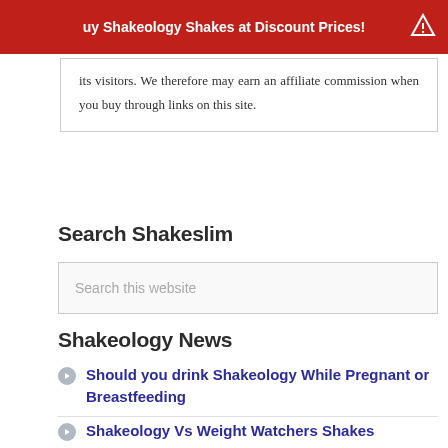uy Shakeology Shakes at Discount Prices!
its visitors. We therefore may earn an affiliate commission when you buy through links on this site.
Search Shakeslim
Search this website
Shakeology News
Should you drink Shakeology While Pregnant or Breastfeeding
Shakeology Vs Weight Watchers Shakes